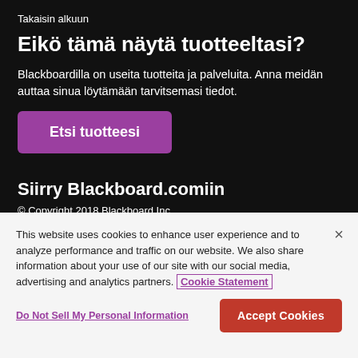Takaisin alkuun
Eikö tämä näytä tuotteeltasi?
Blackboardilla on useita tuotteita ja palveluita. Anna meidän auttaa sinua löytämään tarvitsemasi tiedot.
Etsi tuotteesi
Siirry Blackboard.comiin
© Copyright 2018 Blackboard Inc.
Vastuuvapausilmoitukset
Tietosuojakäytäntö
This website uses cookies to enhance user experience and to analyze performance and traffic on our website. We also share information about your use of our site with our social media, advertising and analytics partners. Cookie Statement
Do Not Sell My Personal Information
Accept Cookies